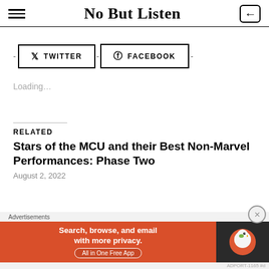No But Listen
- TWITTER - FACEBOOK -
Loading...
RELATED
Stars of the MCU and their Best Non-Marvel Performances: Phase Two
August 2, 2022
[Figure (infographic): DuckDuckGo advertisement banner: orange background with 'Search, browse, and email with more privacy. All in One Free App' and DuckDuckGo duck logo on dark background]
Advertisements